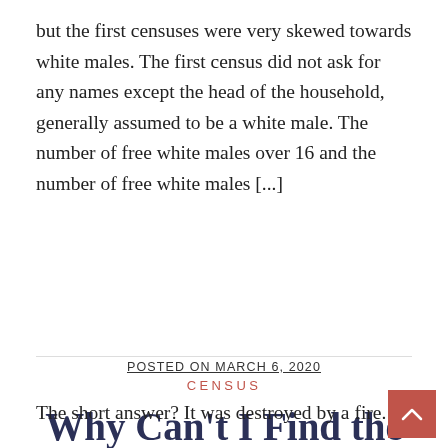but the first censuses were very skewed towards white males. The first census did not ask for any names except the head of the household, generally assumed to be a white male. The number of free white males over 16 and the number of free white males [...]
CENSUS
Why Can't I Find the 1890 Census?
POSTED ON MARCH 6, 2020
The short answer? It was destroyed by a fire.